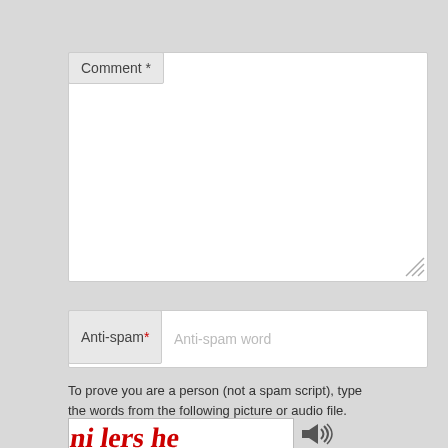Comment *
[Figure (screenshot): Comment text area input field with label 'Comment *' overlapping top-left corner]
Anti-spam*
[Figure (screenshot): Anti-spam text input field with placeholder 'Anti-spam word' and label 'Anti-spam*' overlapping left side]
To prove you are a person (not a spam script), type the words from the following picture or audio file.
[Figure (other): CAPTCHA image showing distorted red handwritten text 'ni lers he' with audio icon to the right]